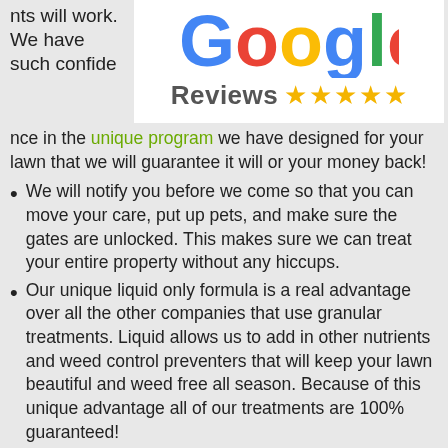nts will work. We have such confidence in the unique program we have designed for your lawn that we will guarantee it will or your money back!
[Figure (logo): Google Reviews logo with five gold stars]
We will notify you before we come so that you can move your care, put up pets, and make sure the gates are unlocked.  This makes sure we can treat your entire property without any hiccups.
Our unique liquid only formula is a real advantage over all the other companies that use granular treatments.  Liquid allows us to add in other nutrients and weed control preventers that will keep your lawn beautiful and weed free all season.  Because of this unique advantage all of our treatments are 100% guaranteed!
We notify you immediately if we detect any problems on your lawn.  All of our techs are equipped with tablets that take pictures and send clients information about insect or disease problems immediately so they can be treated